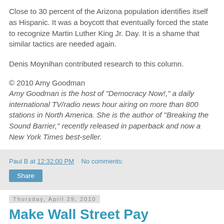Close to 30 percent of the Arizona population identifies itself as Hispanic. It was a boycott that eventually forced the state to recognize Martin Luther King Jr. Day. It is a shame that similar tactics are needed again.
Denis Moynihan contributed research to this column.
© 2010 Amy Goodman
Amy Goodman is the host of "Democracy Now!," a daily international TV/radio news hour airing on more than 800 stations in North America. She is the author of "Breaking the Sound Barrier," recently released in paperback and now a New York Times best-seller.
Paul B at 12:32:00 PM   No comments:
Share
Thursday, April 29, 2010
Make Wall Street Pay